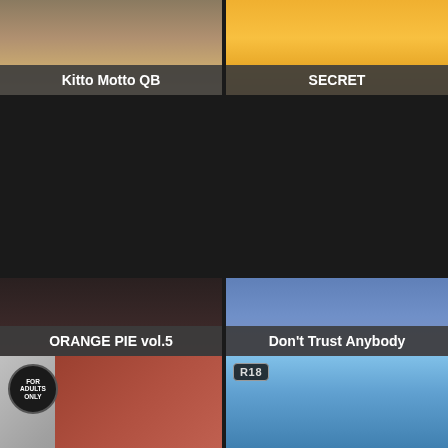[Figure (illustration): Manga/anime style illustration thumbnail for 'Kitto Motto QB']
Kitto Motto QB
[Figure (illustration): Manga/anime style illustration thumbnail for 'SECRET' with orange/yellow tones]
SECRET
[Figure (illustration): Dark manga illustration thumbnail for 'ORANGE PIE vol.5']
ORANGE PIE vol.5
[Figure (illustration): Blue-toned manga illustration thumbnail for 'Don't Trust Anybody']
Don't Trust Anybody
[Figure (illustration): Partial manga thumbnail with 'FOR ADULTS ONLY' badge and reddish-brown hair character]
[Figure (illustration): Partial manga thumbnail with R18 badge and colorful character]